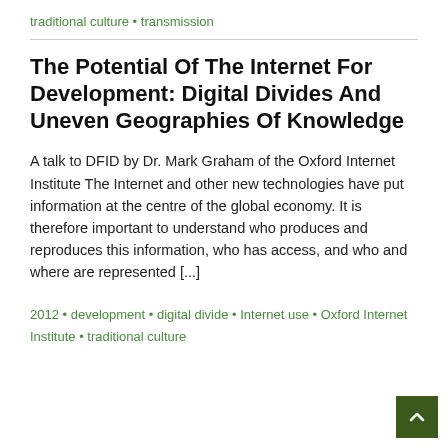traditional culture • transmission
The Potential Of The Internet For Development: Digital Divides And Uneven Geographies Of Knowledge
A talk to DFID by Dr. Mark Graham of the Oxford Internet Institute The Internet and other new technologies have put information at the centre of the global economy. It is therefore important to understand who produces and reproduces this information, who has access, and who and where are represented [...]
2012 • development • digital divide • Internet use • Oxford Internet Institute • traditional culture